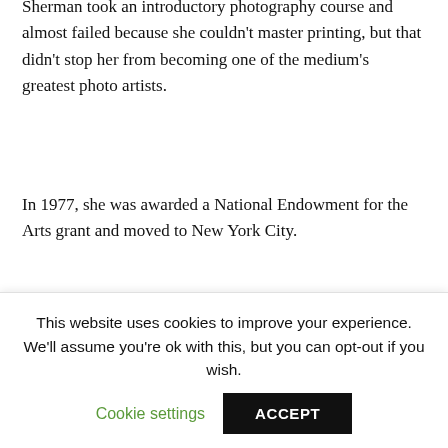Sherman took an introductory photography course and almost failed because she couldn't master printing, but that didn't stop her from becoming one of the medium's greatest photo artists.
In 1977, she was awarded a National Endowment for the Arts grant and moved to New York City.
Untitled Film Stills
Sherman's breakthrough came in the late 1970s with her series, Untitled Film Stills.
Although some of the text appears to be cut off at the bottom...
This website uses cookies to improve your experience. We'll assume you're ok with this, but you can opt-out if you wish.